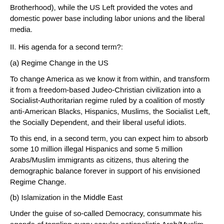Brotherhood), while the US Left provided the votes and domestic power base including labor unions and the liberal media.
II. His agenda for a second term?:
(a) Regime Change in the US
To change America as we know it from within, and transform it from a freedom-based Judeo-Christian civilization into a Socialist-Authoritarian regime ruled by a coalition of mostly anti-American Blacks, Hispanics, Muslims, the Socialist Left, the Socially Dependent, and their liberal useful idiots.
To this end, in a second term, you can expect him to absorb some 10 million illegal Hispanics and some 5 million Arabs/Muslim immigrants as citizens, thus altering the demographic balance forever in support of his envisioned Regime Change.
(b) Islamization in the Middle East
Under the guise of so-called Democracy, consummate his agenda of toppling every secular-nationalistic Arab/Muslim regime and replacing it with Shariah-based Muslim Brotherhood type regimes that are sympathetic to Saudi...